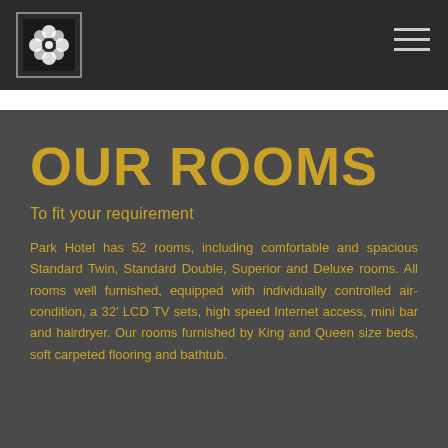[Figure (logo): Hotel logo with flower/daisy design in white on dark background, square border]
OUR ROOMS
To fit your requirement
Park Hotel has 52 rooms, including comfortable and spacious Standard Twin, Standard Double, Superior and Deluxe rooms. All rooms well furnished, equipped with individually controlled air-condition, a 32' LCD TV sets, high speed Internet access, mini bar and hairdryer. Our rooms furnished by King and Queen size beds, soft carpeted flooring and bathtub.